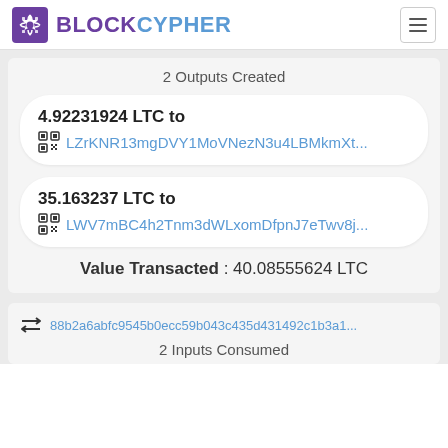BLOCKCYPHER
2 Outputs Created
4.92231924 LTC to LZrKNR13mgDVY1MoVNezN3u4LBMkmXt...
35.163237 LTC to LWV7mBC4h2Tnm3dWLxomDfpnJ7eTwv8j...
Value Transacted : 40.08555624 LTC
88b2a6abfc9545b0ecc59b043c435d431492c1b3a1...
2 Inputs Consumed